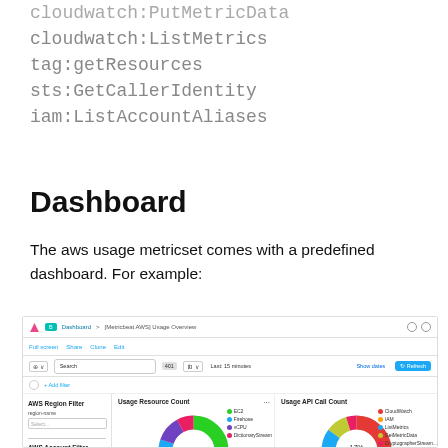cloudwatch:PutMetricData
cloudwatch:ListMetrics
tag:getResources
sts:GetCallerIdentity
iam:ListAccountAliases
Dashboard
The aws usage metricset comes with a predefined dashboard. For example:
[Figure (screenshot): Screenshot of a Kibana dashboard titled '[Metricbeat AWS] Usage Overview' showing AWS Region Filter and AWS Account Filter on the left sidebar, and two donut charts: 'Usage Resource Count' (with EC2, Firehose, vCPU, DictionaryStream legends) and 'Usage API Call Count' (with CloudWatch, IAM, ListMetrics, GetMetricData, CryptographerStream legends)]